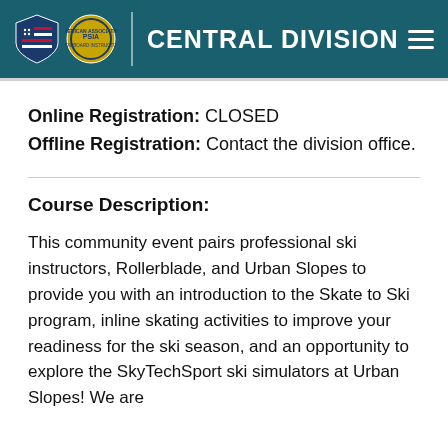[Figure (logo): PSIA Central Division header with shield logo and circular organization logo, teal background, white text reading CENTRAL DIVISION, hamburger menu icon]
Online Registration: CLOSED
Offline Registration: Contact the division office.
Course Description:
This community event pairs professional ski instructors, Rollerblade, and Urban Slopes to provide you with an introduction to the Skate to Ski program, inline skating activities to improve your readiness for the ski season, and an opportunity to explore the SkyTechSport ski simulators at Urban Slopes! We are